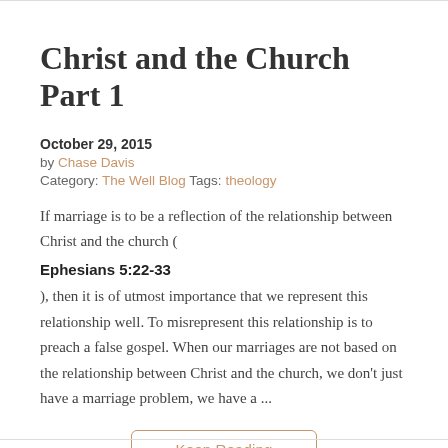Christ and the Church Part 1
October 29, 2015
by Chase Davis
Category: The Well Blog Tags: theology
If marriage is to be a reflection of the relationship between Christ and the church (
Ephesians 5:22-33
), then it is of utmost importance that we represent this relationship well. To misrepresent this relationship is to preach a false gospel. When our marriages are not based on the relationship between Christ and the church, we don't just have a marriage problem, we have a ...
Keep Reading